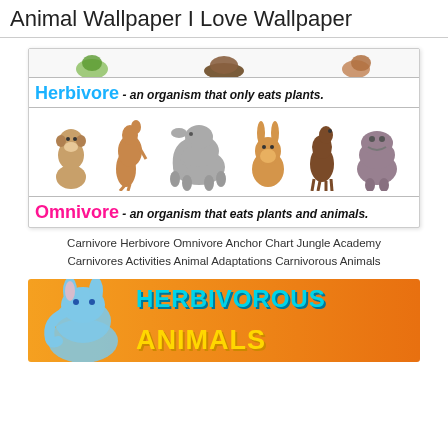Animal Wallpaper I Love Wallpaper
[Figure (illustration): Educational anchor chart showing Herbivore and Omnivore sections with animal images. Herbivore section shows kangaroo, monkey, elephant, rabbit, horse, hippo. Omnivore section partially visible. Label: 'Herbivore - an organism that only eats plants.' and 'Omnivore - an organism that eats plants and animals.']
Carnivore Herbivore Omnivore Anchor Chart Jungle Academy Carnivores Activities Animal Adaptations Carnivorous Animals
[Figure (illustration): Colorful banner with orange/yellow gradient background. Text reads 'HERBIVOROUS ANIMALS' in cyan and yellow bold letters. A cartoon elephant illustration is visible on the left.]